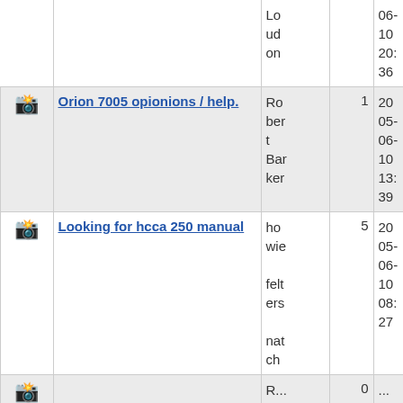|  | Topic | Author | Replies | Date |
| --- | --- | --- | --- | --- |
|  |  | Loudon |  | 06-10 20:36 |
| [icon] | Orion 7005 opionions / help. | Robert Barker | 1 | 20 05-06-10 13:39 |
| [icon] | Looking for hcca 250 manual | howie felters natch | 5 | 20 05-06-10 08:27 |
| [icon] | ... | R... | 0 | ... |